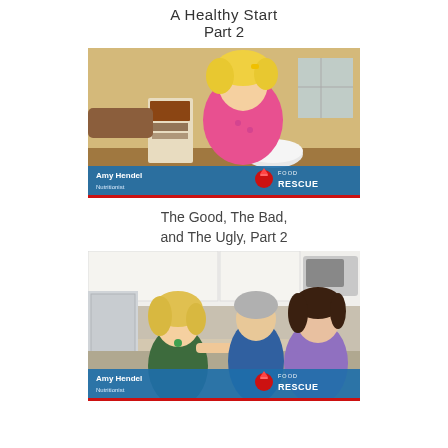A Healthy Start
Part 2
[Figure (photo): Video thumbnail showing a young blonde girl looking at a cereal box, with a lower-third overlay reading 'Amy Hendel, Nutritionist' and 'FOOD RESCUE' branding logo.]
The Good, The Bad,
and The Ugly, Part 2
[Figure (photo): Video thumbnail showing three adults standing in a kitchen — a blonde woman on the left, a man in blue shirt in the center, and a woman in purple on the right. Lower-third overlay reads 'Amy Hendel, Nutritionist' and 'FOOD RESCUE' branding logo.]